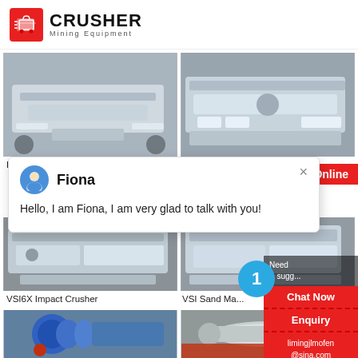[Figure (logo): Crusher Mining Equipment logo with red shopping bag icon and bold CRUSHER text]
[Figure (photo): PCL Sand Making Machine industrial equipment photo]
PCL Sand Making Machine
[Figure (photo): VSI5X Impact Crusher industrial equipment photo]
VSI5X Impact Crusher
[Figure (photo): Chat popup showing agent Fiona with message: Hello, I am Fiona, I am very glad to talk with you!]
[Figure (photo): VSI6X Impact Crusher industrial equipment photo]
VSI6X Impact Crusher
[Figure (photo): VSI Sand Making Machine industrial equipment photo (partially obscured)]
VSI Sand Ma...
[Figure (photo): Blue ball mill industrial equipment photo]
[Figure (photo): Roller/cylinder industrial equipment photo]